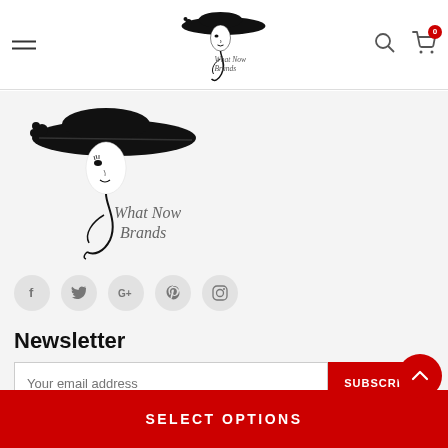[Figure (logo): What Now Brands logo in header — woman in wide-brim hat with cursive text, small version]
[Figure (logo): What Now Brands logo in content area — woman in wide-brim hat with cursive text, large version]
[Figure (infographic): Social media icon buttons: Facebook (f), Twitter (bird), Google+ (G+), Pinterest (P), Instagram (camera)]
Newsletter
Your email address
SUBSCRIBE
SELECT OPTIONS